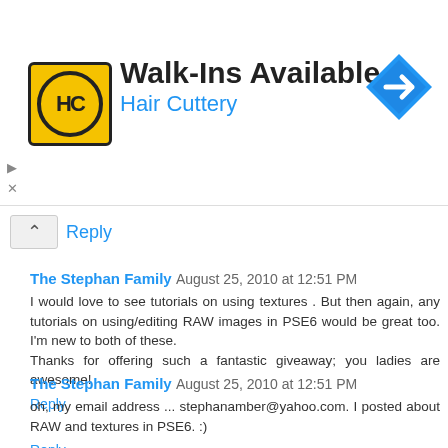[Figure (infographic): Hair Cuttery advertisement banner showing HC logo on yellow background, 'Walk-Ins Available' heading in black, 'Hair Cuttery' subtitle in blue, and a blue diamond-shaped navigation arrow icon on the right]
Reply
The Stephan Family August 25, 2010 at 12:51 PM
I would love to see tutorials on using textures . But then again, any tutorials on using/editing RAW images in PSE6 would be great too. I'm new to both of these.
Thanks for offering such a fantastic giveaway; you ladies are awesome!
Reply
The Stephan Family August 25, 2010 at 12:51 PM
oh, my email address ... stephanamber@yahoo.com. I posted about RAW and textures in PSE6. :)
Reply